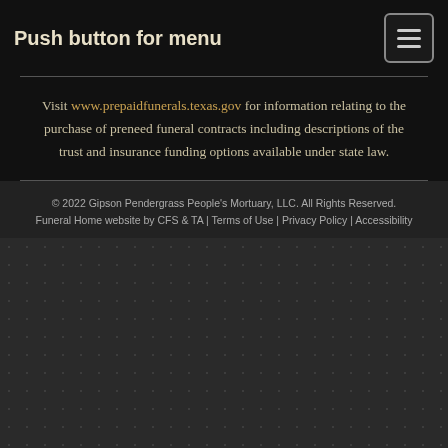Push button for menu
Visit www.prepaidfunerals.texas.gov for information relating to the purchase of preneed funeral contracts including descriptions of the trust and insurance funding options available under state law.
© 2022 Gipson Pendergrass People's Mortuary, LLC. All Rights Reserved. Funeral Home website by CFS & TA | Terms of Use | Privacy Policy | Accessibility